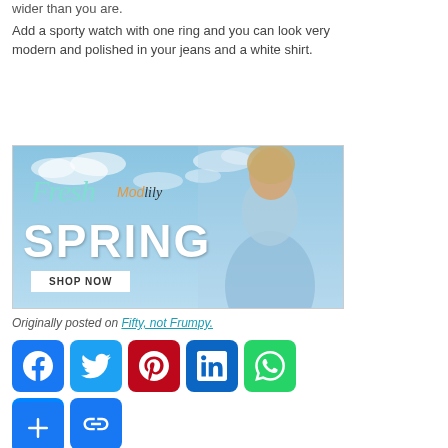wider than you are.
Add a sporty watch with one ring and you can look very modern and polished in your jeans and a white shirt.
[Figure (photo): Modlily Fresh Spring advertisement banner showing a woman in a light blue lace top against a sky background, with 'Fresh Modlily SPRING' text and a 'SHOP NOW' button.]
Originally posted on Fifty, not Frumpy.
[Figure (infographic): Social media sharing icons: Facebook, Twitter, Pinterest, LinkedIn, WhatsApp, Messenger, Link, and a More (+) button]